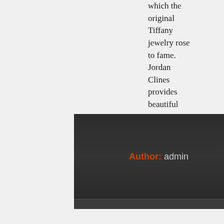which the original Tiffany jewelry rose to fame. Jordan Clines provides beautiful estate jewelry from all kinds of backgrounds. Visit website.
Author: admin